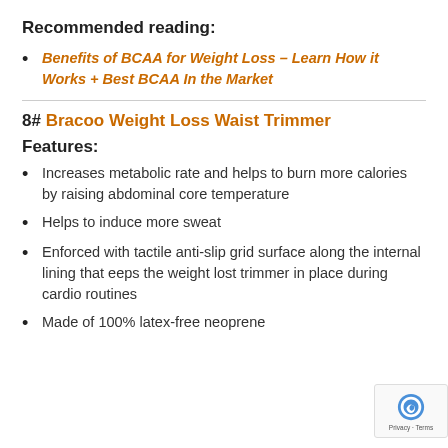Recommended reading:
Benefits of BCAA for Weight Loss – Learn How it Works + Best BCAA In the Market
8# Bracoo Weight Loss Waist Trimmer
Features:
Increases metabolic rate and helps to burn more calories by raising abdominal core temperature
Helps to induce more sweat
Enforced with tactile anti-slip grid surface along the internal lining that eeps the weight lost trimmer in place during cardio routines
Made of 100% latex-free neoprene